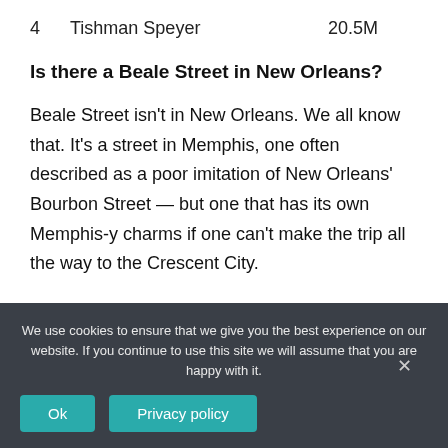| 4 | Tishman Speyer | 20.5M |
Is there a Beale Street in New Orleans?
Beale Street isn't in New Orleans. We all know that. It's a street in Memphis, one often described as a poor imitation of New Orleans' Bourbon Street — but one that has its own Memphis-y charms if one can't make the trip all the way to the Crescent City.
We use cookies to ensure that we give you the best experience on our website. If you continue to use this site we will assume that you are happy with it.